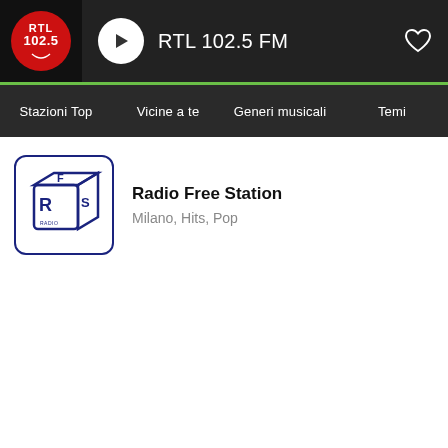[Figure (screenshot): RTL 102.5 FM radio app header with logo, play button, station name, and heart/favorite icon on dark background]
Stazioni Top  Vicine a te  Generi musicali  Temi
[Figure (logo): Radio Free Station logo: blue cube with letters R, F, S on a white background with dark blue border]
Radio Free Station
Milano, Hits, Pop